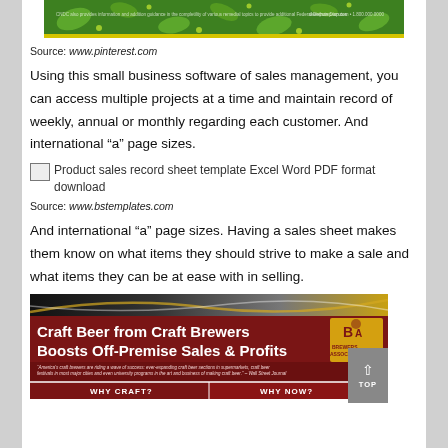[Figure (photo): Green decorative banner with floral pattern and yellow text/border at top of page]
Source: www.pinterest.com
Using this small business software of sales management, you can access multiple projects at a time and maintain record of weekly, annual or monthly regarding each customer. And international “a” page sizes.
[Figure (photo): Broken image placeholder: Product sales record sheet template Excel Word PDF format download]
Source: www.bstemplates.com
And international “a” page sizes. Having a sales sheet makes them know on what items they should strive to make a sale and what items they can be at ease with in selling.
[Figure (photo): Craft Beer from Craft Brewers Boosts Off-Premise Sales & Profits advertisement banner with Brewers Association logo and quote from Wall Street Journal. Bottom has WHY CRAFT? and WHY NOW? sections.]